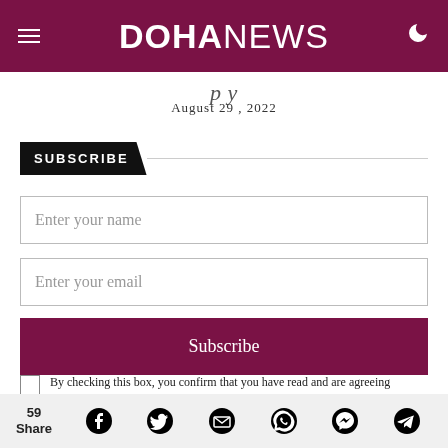DOHANEWS
August 29 , 2022
SUBSCRIBE
Enter your name
Enter your email
Subscribe
By checking this box, you confirm that you have read and are agreeing to our terms of use regarding the storage of the data submitted through this
59 Share